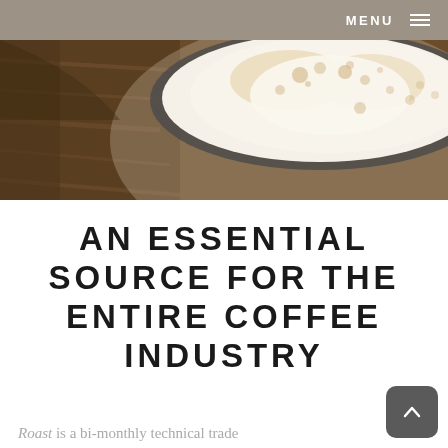MENU
[Figure (photo): Close-up photo of a coffee cup with latte art foam on a wooden surface, seen from above at an angle]
AN ESSENTIAL SOURCE FOR THE ENTIRE COFFEE INDUSTRY
Roast is a bi-monthly technical trade